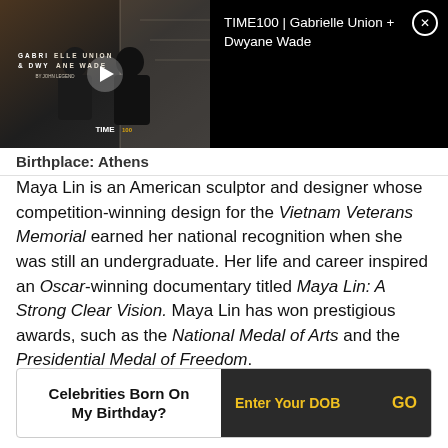[Figure (screenshot): Video thumbnail showing two people seated, overlaid with text 'GABRIELLE UNION & DWYANE WADE' and a play button, TIME100 branding at bottom. Next to it, black panel with white text 'TIME100 | Gabrielle Union + Dwyane Wade' and close button.]
Birthplace: Athens
Maya Lin is an American sculptor and designer whose competition-winning design for the Vietnam Veterans Memorial earned her national recognition when she was still an undergraduate. Her life and career inspired an Oscar-winning documentary titled Maya Lin: A Strong Clear Vision. Maya Lin has won prestigious awards, such as the National Medal of Arts and the Presidential Medal of Freedom.
Celebrities Born On My Birthday?  Enter Your DOB  GO